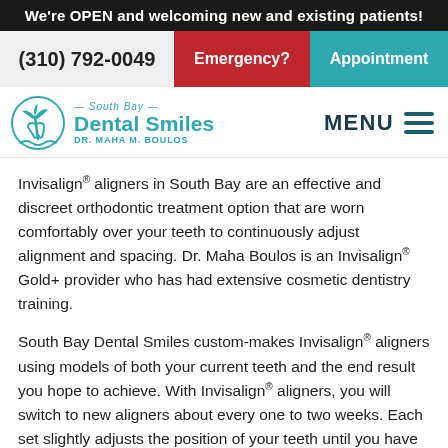We're OPEN and welcoming new and existing patients!
(310) 792-0049  Emergency?  Appointment
[Figure (logo): South Bay Dental Smiles logo with teal palm tree and tooth icon, text reads South Bay Dental Smiles Dr. Maha M. Boulos]
Invisalign® aligners in South Bay are an effective and discreet orthodontic treatment option that are worn comfortably over your teeth to continuously adjust alignment and spacing. Dr. Maha Boulos is an Invisalign® Gold+ provider who has had extensive cosmetic dentistry training.
South Bay Dental Smiles custom-makes Invisalign® aligners using models of both your current teeth and the end result you hope to achieve. With Invisalign® aligners, you will switch to new aligners about every one to two weeks. Each set slightly adjusts the position of your teeth until you have achieved your final results, which typically takes about 5-10 months, but sometimes can take longer.